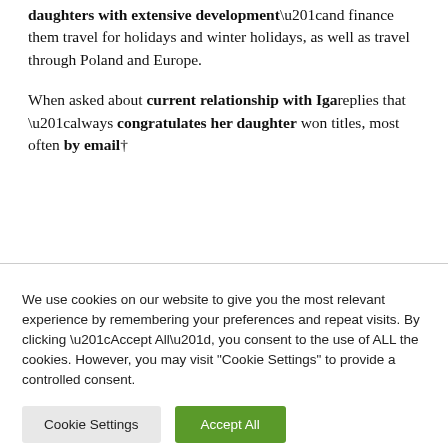daughters with extensive development”and finance them travel for holidays and winter holidays, as well as travel through Poland and Europe.
When asked about current relationship with Iga replies that “always congratulates her daughter won titles, most often by email†
We use cookies on our website to give you the most relevant experience by remembering your preferences and repeat visits. By clicking “Accept All”, you consent to the use of ALL the cookies. However, you may visit "Cookie Settings" to provide a controlled consent.